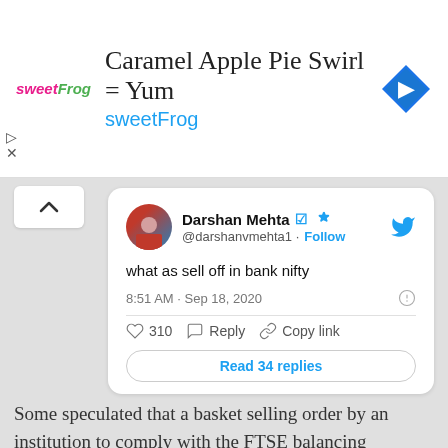[Figure (screenshot): SweetFrog advertisement banner with logo, title 'Caramel Apple Pie Swirl = Yum', subtitle 'sweetFrog', and a blue diamond navigation icon]
[Figure (screenshot): Tweet by Darshan Mehta (@darshanvmehta1) saying 'what as sell off in bank nifty', posted at 8:51 AM Sep 18, 2020, with 310 likes and Read 34 replies button]
Some speculated that a basket selling order by an institution to comply with the FTSE balancing guidelines may be the culprit.
[Figure (screenshot): Partially visible tweet card by Yatin Mota with Twitter bird icon]